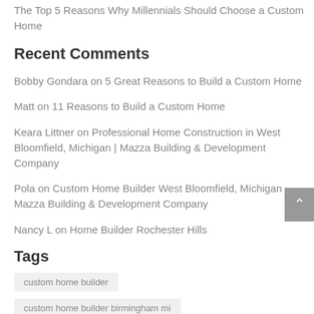The Top 5 Reasons Why Millennials Should Choose a Custom Home
Recent Comments
Bobby Gondara on 5 Great Reasons to Build a Custom Home
Matt on 11 Reasons to Build a Custom Home
Keara Littner on Professional Home Construction in West Bloomfield, Michigan | Mazza Building & Development Company
Pola on Custom Home Builder West Bloomfield, Michigan – Mazza Building & Development Company
Nancy L on Home Builder Rochester Hills
Tags
custom home builder
custom home builder birmingham mi